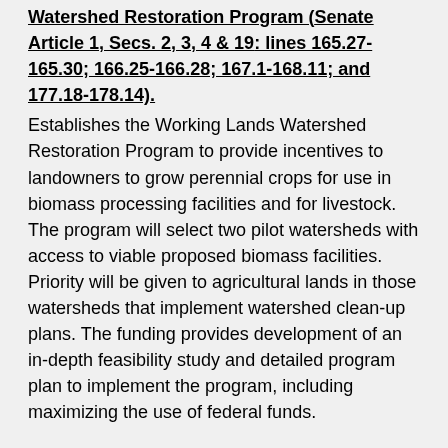Watershed Restoration Program (Senate Article 1, Secs. 2, 3, 4 & 19: lines 165.27-165.30; 166.25-166.28; 167.1-168.11; and 177.18-178.14).
Establishes the Working Lands Watershed Restoration Program to provide incentives to landowners to grow perennial crops for use in biomass processing facilities and for livestock. The program will select two pilot watersheds with access to viable proposed biomass facilities. Priority will be given to agricultural lands in those watersheds that implement watershed clean-up plans. The funding provides development of an in-depth feasibility study and detailed program plan to implement the program, including maximizing the use of federal funds.
Appropriation Language (165.27-165.30; 166.25-166.28): $115,000 the second year is for the working lands program feasibility study and program plan. This is a onetime appropriation and is available until June 30, 2018.